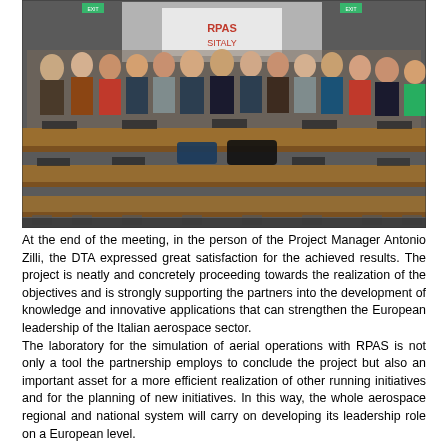[Figure (photo): Group photo of approximately 40 people standing in a tiered lecture/conference room with wooden desks. A projection screen with a logo (RPASITALY) is visible in the background. People are standing behind the rows of desks, dressed in professional and casual attire.]
At the end of the meeting, in the person of the Project Manager Antonio Zilli, the DTA expressed great satisfaction for the achieved results. The project is neatly and concretely proceeding towards the realization of the objectives and is strongly supporting the partners into the development of knowledge and innovative applications that can strengthen the European leadership of the Italian aerospace sector.
The laboratory for the simulation of aerial operations with RPAS is not only a tool the partnership employs to conclude the project but also an important asset for a more efficient realization of other running initiatives and for the planning of new initiatives. In this way, the whole aerospace regional and national system will carry on developing its leadership role on a European level.